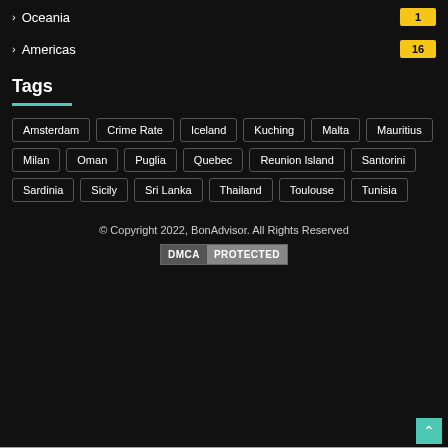Oceania 1
Americas 16
Tags
Amsterdam
Crime Rate
Iceland
Kuching
Malta
Mauritius
Milan
Oman
Puglia
Quebec
Reunion Island
Santorini
Sardinia
Sicily
Sri Lanka
Thailand
Toulouse
Tunisia
© Copyright 2022, BonAdvisor. All Rights Reserved